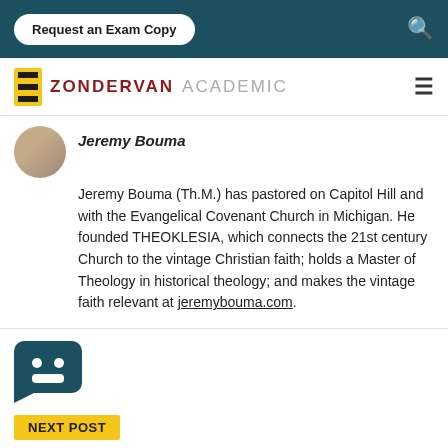Request an Exam Copy
[Figure (logo): Zondervan Academic logo with yellow Z icon and red ZONDERVAN text and grey ACADEMIC text]
Jeremy Bouma
Jeremy Bouma (Th.M.) has pastored on Capitol Hill and with the Evangelical Covenant Church in Michigan. He founded THEOKLESIA, which connects the 21st century Church to the vintage Christian faith; holds a Master of Theology in historical theology; and makes the vintage faith relevant at jeremybouma.com.
[Figure (illustration): Dark teal chatbot icon with smiley face]
NEXT POST